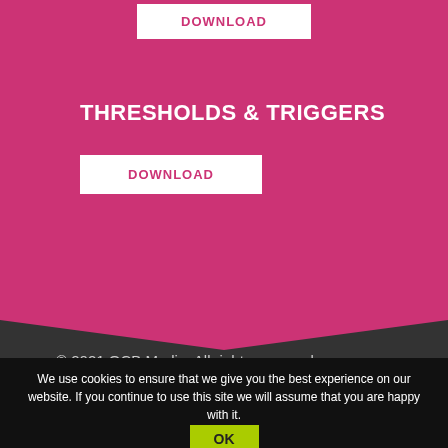DOWNLOAD
THRESHOLDS & TRIGGERS
DOWNLOAD
© 2021 OCB Media. All rights reserved.
We use cookies to ensure that we give you the best experience on our website. If you continue to use this site we will assume that you are happy with it.
OK